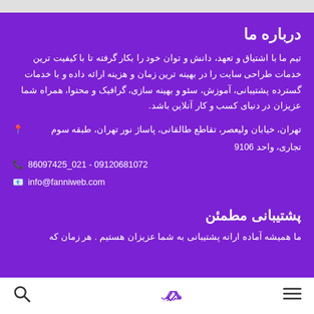درباره ما
تیم ما با اشتیاق و تعهد، دانش و توان خود را بکار گرفته تا با کیفیت ترین خدمات طراحی سایت را در بهینه ترین زمان و هزینه ارائه داده و با خدمات گسترده پشتیبانی، آموزش، سئو و بهینه سازی، گرافیک و محتوا، همراه شما عزیزان در دنیای کسب و کار آنلاین باشد.
📍 تهران، خیابان ولیعصر، تقاطع طالقانی، پاساژ نور تهران، طبقه سوم تجاری، واحد 9106
📞 09120681072 - 021_86097425
📧 info@fanniweb.com
پشتیبانی مطمئن
ما همیشه آماده ارانه پشتیبانی به شما عزیزان هستیم . هر زمان که